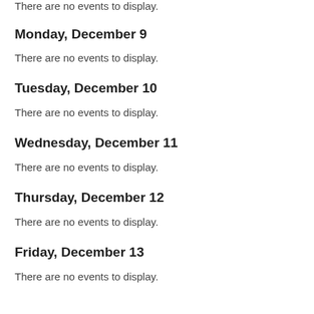There are no events to display.
Monday, December 9
There are no events to display.
Tuesday, December 10
There are no events to display.
Wednesday, December 11
There are no events to display.
Thursday, December 12
There are no events to display.
Friday, December 13
There are no events to display.